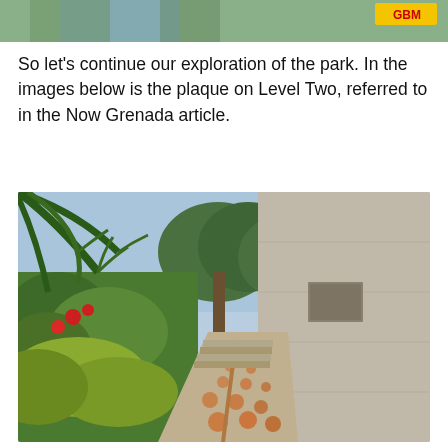[Figure (photo): Partial photo at top of page showing a person in blue clothing with greenery and a GBM logo in the top right corner]
So let's continue our exploration of the park. In the images below is the plaque on Level Two, referred to in the Now Grenada article.
[Figure (photo): Outdoor park scene showing a paved walkway with orange dot pattern leading up concrete steps, bordered on the left by flowering shrubs and red roses, and on the right by a tall concrete wall with a plaque. Palm fronds and trees visible in the background under a blue sky.]